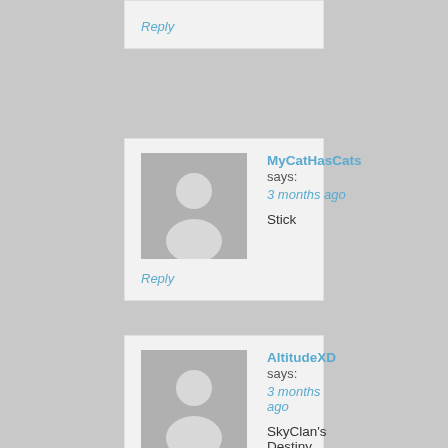Reply
MyCatHasCats says:
3 months ago

Stick
Reply
AltitudeXD says:
3 months ago

SkyClan's Destiny
Reply
niyahaz says:
3 months ago